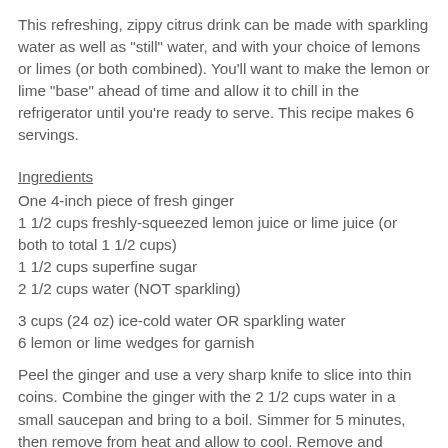This refreshing, zippy citrus drink can be made with sparkling water as well as "still" water, and with your choice of lemons or limes (or both combined). You'll want to make the lemon or lime "base" ahead of time and allow it to chill in the refrigerator until you're ready to serve. This recipe makes 6 servings.
Ingredients
One 4-inch piece of fresh ginger
1 1/2 cups freshly-squeezed lemon juice or lime juice (or both to total 1 1/2 cups)
1 1/2 cups superfine sugar
2 1/2 cups water (NOT sparkling)
3 cups (24 oz) ice-cold water OR sparkling water
6 lemon or lime wedges for garnish
Peel the ginger and use a very sharp knife to slice into thin coins. Combine the ginger with the 2 1/2 cups water in a small saucepan and bring to a boil. Simmer for 5 minutes, then remove from heat and allow to cool. Remove and discard the ginger pieces. In a serving pitcher, mix together